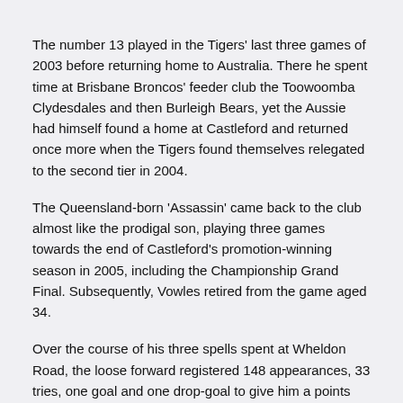The number 13 played in the Tigers' last three games of 2003 before returning home to Australia. There he spent time at Brisbane Broncos' feeder club the Toowoomba Clydesdales and then Burleigh Bears, yet the Aussie had himself found a home at Castleford and returned once more when the Tigers found themselves relegated to the second tier in 2004.
The Queensland-born 'Assassin' came back to the club almost like the prodigal son, playing three games towards the end of Castleford's promotion-winning season in 2005, including the Championship Grand Final. Subsequently, Vowles retired from the game aged 34.
Over the course of his three spells spent at Wheldon Road, the loose forward registered 148 appearances, 33 tries, one goal and one drop-goal to give him a points haul of 135 – a remarkable statistic for a number 13. A real hard-man and tough operator, Vowles also made three appearances for Scotland in the 2000 World Cup as well as one State of Origin appearance for Queensland in 1994.